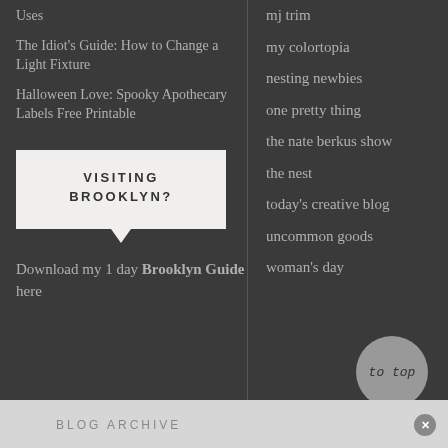Uses
The Idiot's Guide: How to Change a Light Fixture
Halloween Love: Spooky Apothecary Labels Free Printable
[Figure (other): White speech bubble box with bold text: VISITING BROOKLYN?]
Download my 1 day Brooklyn Guide here
mj trim
my colortopia
nesting newbies
one pretty thing
the nate berkus show
the nest
today's creative blog
uncommon goods
woman's day
BLOG ARCHIVE